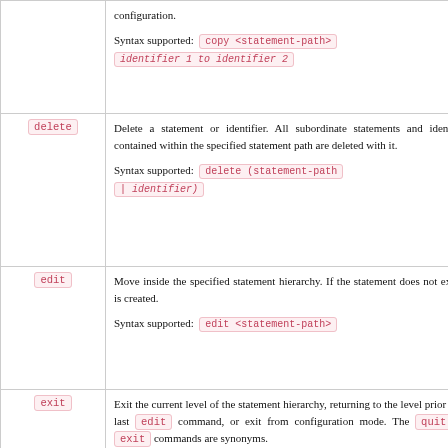| Command | Description |
| --- | --- |
| (copy continued) | configuration.

Syntax supported: copy <statement-path> identifier 1 to identifier 2 |
| delete | Delete a statement or identifier. All subordinate statements and identifiers contained within the specified statement path are deleted with it.

Syntax supported: delete (statement-path | identifier) |
| edit | Move inside the specified statement hierarchy. If the statement does not exist, it is created.

Syntax supported: edit <statement-path> |
| exit | Exit the current level of the statement hierarchy, returning to the level prior to the last edit command, or exit from configuration mode. The quit and exit commands are synonyms.

Syntax supported: exit |